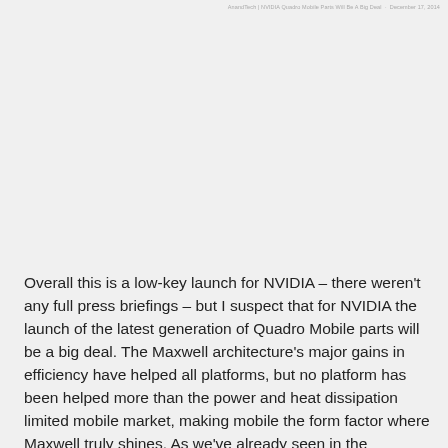AnandTech | NVIDIA Quadro Mobile Parts Will Be A Big Deal · December 17, 2014
Overall this is a low-key launch for NVIDIA – there weren't any full press briefings – but I suspect that for NVIDIA the launch of the latest generation of Quadro Mobile parts will be a big deal. The Maxwell architecture's major gains in efficiency have helped all platforms, but no platform has been helped more than the power and heat dissipation limited mobile market, making mobile the form factor where Maxwell truly shines. As we've already seen in the consumer space over the past year, NVIDIA has been able to significantly increase their performance over the Kepler generation